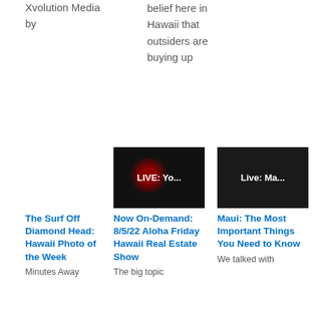Xvolution Media by
belief here in Hawaii that outsiders are buying up
[Figure (screenshot): Video thumbnail with dark background and red blob, text: LIVE: Yo...]
Now On-Demand: 8/5/22 Aloha Friday Hawaii Real Estate Show
The big topic
[Figure (screenshot): Video thumbnail with dark background, text: Live: Ma...]
Maui: The Most Important Things You Need to Know
We talked with
The Surf Off Diamond Head: Hawaii Photo of the Week
Minutes Away